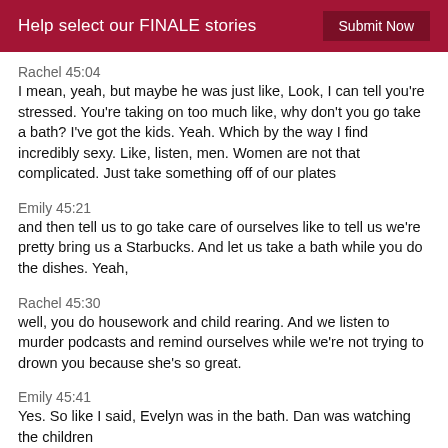Help select our FINALE stories   Submit Now
Rachel 45:04
I mean, yeah, but maybe he was just like, Look, I can tell you're stressed. You're taking on too much like, why don't you go take a bath? I've got the kids. Yeah. Which by the way I find incredibly sexy. Like, listen, men. Women are not that complicated. Just take something off of our plates
Emily 45:21
and then tell us to go take care of ourselves like to tell us we're pretty bring us a Starbucks. And let us take a bath while you do the dishes. Yeah,
Rachel 45:30
well, you do housework and child rearing. And we listen to murder podcasts and remind ourselves while we're not trying to drown you because she's so great.
Emily 45:41
Yes. So like I said, Evelyn was in the bath. Dan was watching the children